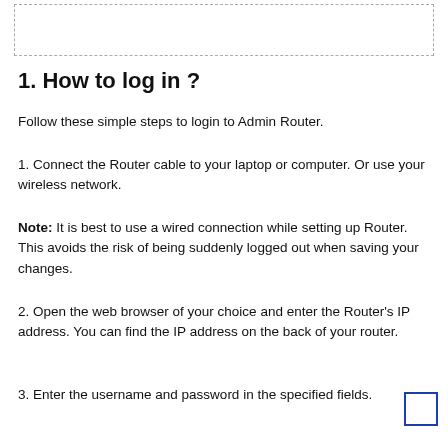[Figure (other): Dashed rectangle border at top of page, empty content area]
1. How to log in ?
Follow these simple steps to login to Admin Router.
1. Connect the Router cable to your laptop or computer. Or use your wireless network.
Note: It is best to use a wired connection while setting up Router. This avoids the risk of being suddenly logged out when saving your changes.
2. Open the web browser of your choice and enter the Router's IP address. You can find the IP address on the back of your router.
3. Enter the username and password in the specified fields.